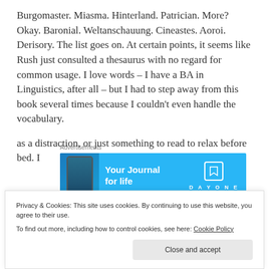Burgomaster. Miasma. Hinterland. Patrician. More? Okay. Baronial. Weltanschauung. Cineastes. Aoroi. Derisory. The list goes on. At certain points, it seems like Rush just consulted a thesaurus with no regard for common usage. I love words – I have a BA in Linguistics, after all – but I had to step away from this book several times because I couldn't even handle the vocabulary.
[Figure (screenshot): Advertisement banner for Day One journal app with blue background, phone image on left, 'Your Journal for life' text in center, Day One logo and bookmark icon on right]
And then the plot. Or the lack of plot, for the majority of the
as a distraction, or just something to read to relax before bed. I
Privacy & Cookies: This site uses cookies. By continuing to use this website, you agree to their use.
To find out more, including how to control cookies, see here: Cookie Policy